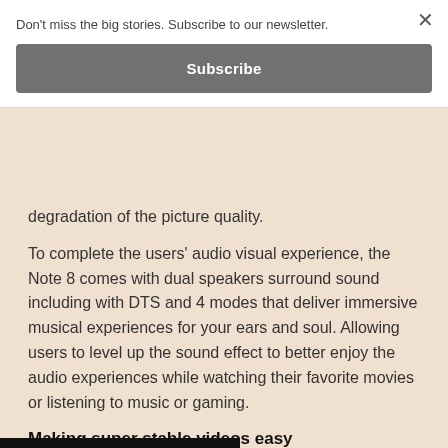Don't miss the big stories. Subscribe to our newsletter.
Subscribe
degradation of the picture quality.
To complete the users' audio visual experience, the Note 8 comes with dual speakers surround sound including with DTS and 4 modes that deliver immersive musical experiences for your ears and soul. Allowing users to level up the sound effect to better enjoy the audio experiences while watching their favorite movies or listening to music or gaming.
Making super stable videos easy